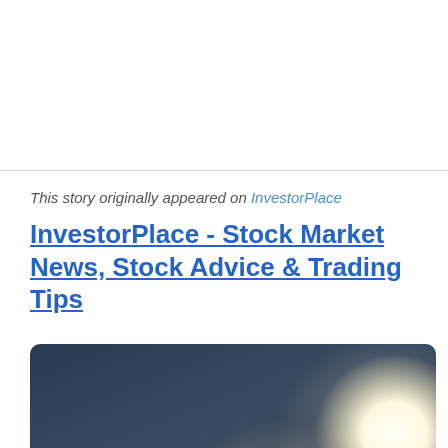This story originally appeared on InvestorPlace
InvestorPlace - Stock Market News, Stock Advice & Trading Tips
[Figure (photo): Dark background photo showing two glowing white light bulbs, one smaller in the center and one larger on the right side, against a dark blue-grey gradient background.]